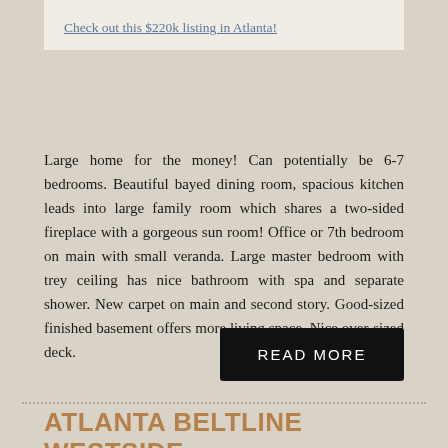Check out this $220k listing in Atlanta!
Large home for the money! Can potentially be 6-7 bedrooms. Beautiful bayed dining room, spacious kitchen leads into large family room which shares a two-sided fireplace with a gorgeous sun room! Office or 7th bedroom on main with small veranda. Large master bedroom with trey ceiling has nice bathroom with spa and separate shower. New carpet on main and second story. Good-sized finished basement offers more living space. Nice over-sized deck.
READ MORE
ATLANTA BELTLINE WESTSIDE TRAIL TIMELAPSE